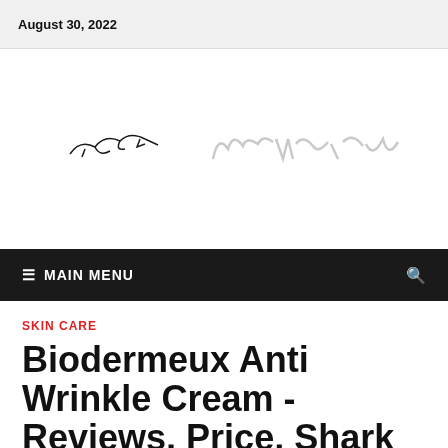August 30, 2022
[Figure (logo): Website logo on the left - stylized text/icon mark in dark color]
[Figure (logo): Website logo on the right - stylized text in light gray]
MAIN MENU
SKIN CARE
Biodermeux Anti Wrinkle Cream - Reviews, Price, Shark Tank,